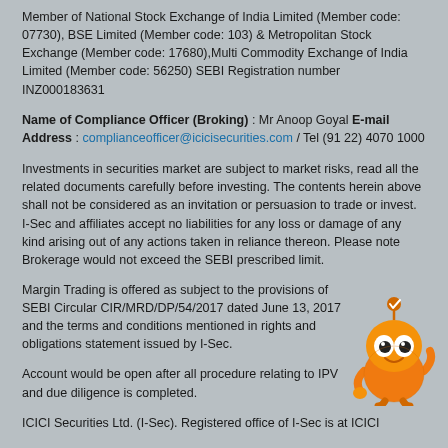Member of National Stock Exchange of India Limited (Member code: 07730), BSE Limited (Member code: 103) & Metropolitan Stock Exchange (Member code: 17680),Multi Commodity Exchange of India Limited (Member code: 56250) SEBI Registration number INZ000183631
Name of Compliance Officer (Broking) : Mr Anoop Goyal E-mail Address : complianceofficer@icicisecurities.com / Tel (91 22) 4070 1000
Investments in securities market are subject to market risks, read all the related documents carefully before investing. The contents herein above shall not be considered as an invitation or persuasion to trade or invest. I-Sec and affiliates accept no liabilities for any loss or damage of any kind arising out of any actions taken in reliance thereon. Please note Brokerage would not exceed the SEBI prescribed limit.
Margin Trading is offered as subject to the provisions of SEBI Circular CIR/MRD/DP/54/2017 dated June 13, 2017 and the terms and conditions mentioned in rights and obligations statement issued by I-Sec.
[Figure (illustration): Orange cartoon mascot character (robot/bee) with large eyes, antenna with checkmark, waving hand]
Account would be open after all procedure relating to IPV and due diligence is completed.
ICICI Securities Ltd. (I-Sec). Registered office of I-Sec is at ICICI